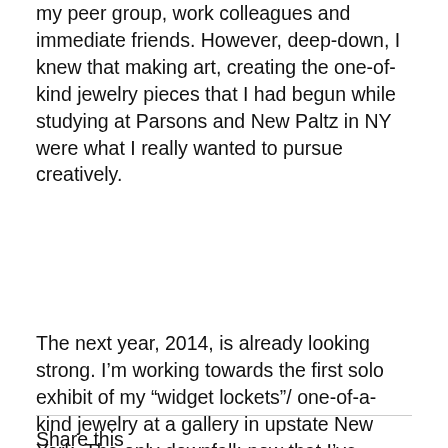my peer group, work colleagues and immediate friends. However, deep-down, I knew that making art, creating the one-of-kind jewelry pieces that I had begun while studying at Parsons and New Paltz in NY were what I really wanted to pursue creatively.
The next year, 2014, is already looking strong. I'm working towards the first solo exhibit of my “widget lockets”/ one-of-a-kind jewelry at a gallery in upstate New York. The only downfall: now that I’ve “opened up the floorboards to the attic”, those folks from my past are peering back up through the new openings in a once-concealed floor and thinking to themselves while unknowingly giving me the Look: “Is she out of her blasted mind!??” “Full-time studio artist in this economy?”
Share this